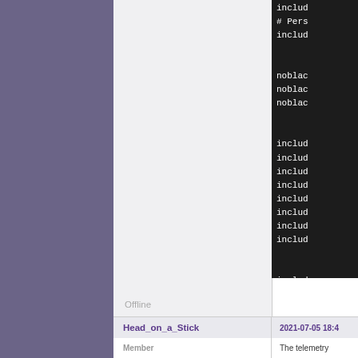[Figure (screenshot): Forum page showing a code block on the right side with lines starting with 'includ', '# Pers', 'noblac', and multiple 'includ' lines on dark background; left side is light gray profile area showing 'Offline' status]
Offline
Head_on_a_Stick
2021-07-05 18:4
Member
The telemetry